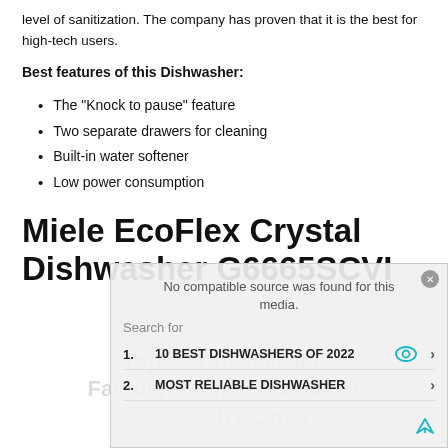level of sanitization. The company has proven that it is the best for high-tech users.
Best features of this Dishwasher:
The “Knock to pause” feature
Two separate drawers for cleaning
Built-in water softener
Low power consumption
Miele EcoFlex Crystal Dishwasher G6665SCVI
[Figure (other): Ad overlay with search results: 'No compatible source was found for this media.' Search for results listing '1. 10 BEST DISHWASHERS OF 2022' and '2. MOST RELIABLE DISHWASHER'. Background watermark text partially visible.]